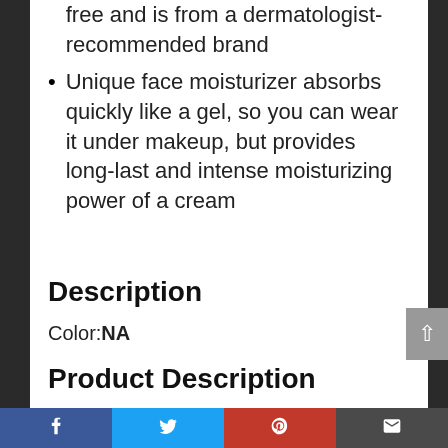free and is from a dermatologist-recommended brand
Unique face moisturizer absorbs quickly like a gel, so you can wear it under makeup, but provides long-last and intense moisturizing power of a cream
Description
Color: NA
Product Description